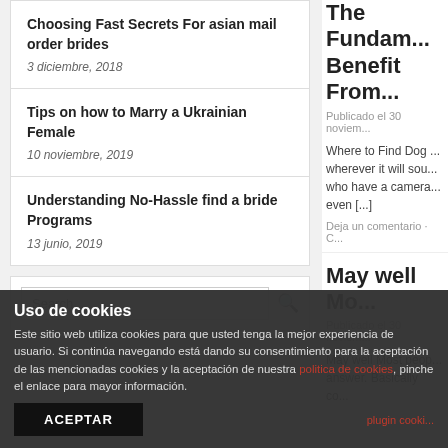Choosing Fast Secrets For asian mail order brides
3 diciembre, 2018
Tips on how to Marry a Ukrainian Female
10 noviembre, 2019
Understanding No-Hassle find a bride Programs
13 junio, 2019
The Fundam... Benefit From...
Publicado el 30 noviem...
Where to Find Dog ... wherever it will sou... who have a camera... even [...]
Deja un comentario · C...
May well Mo...
Publicado el 30 noviem...
May well Most peop... answer. Basically co...
Search...
Uso de cookies
Este sitio web utiliza cookies para que usted tenga la mejor experiencia de usuario. Si continúa navegando está dando su consentimiento para la aceptación de las mencionadas cookies y la aceptación de nuestra politica de cookies, pinche el enlace para mayor información.
ACEPTAR
plugin cooki...